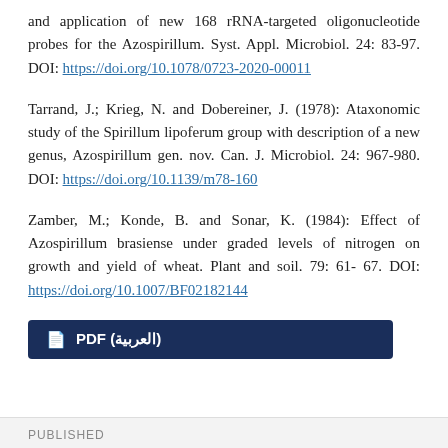and application of new 168 rRNA-targeted oligonucleotide probes for the Azospirillum. Syst. Appl. Microbiol. 24: 83-97. DOI: https://doi.org/10.1078/0723-2020-00011
Tarrand, J.; Krieg, N. and Dobereiner, J. (1978): Ataxonomic study of the Spirillum lipoferum group with description of a new genus, Azospirillum gen. nov. Can. J. Microbiol. 24: 967-980. DOI: https://doi.org/10.1139/m78-160
Zamber, M.; Konde, B. and Sonar, K. (1984): Effect of Azospirillum brasiense under graded levels of nitrogen on growth and yield of wheat. Plant and soil. 79: 61- 67. DOI: https://doi.org/10.1007/BF02182144
PDF (العربية)
PUBLISHED